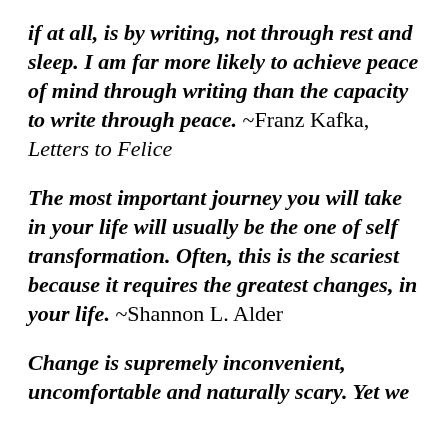if at all, is by writing, not through rest and sleep. I am far more likely to achieve peace of mind through writing than the capacity to write through peace. ~Franz Kafka, Letters to Felice
The most important journey you will take in your life will usually be the one of self transformation. Often, this is the scariest because it requires the greatest changes, in your life. ~Shannon L. Alder
Change is supremely inconvenient, uncomfortable and naturally scary. Yet we